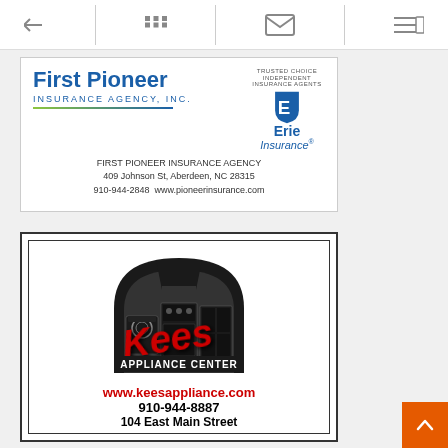[Figure (logo): First Pioneer Insurance Agency logo with Erie Insurance logo]
FIRST PIONEER INSURANCE AGENCY
409 Johnson St, Aberdeen, NC 28315
910-944-2848  www.pioneerinsurance.com
[Figure (logo): Kees Appliance Center logo with black arch containing appliance silhouettes and red cursive Kees text with Appliance Center below]
www.keesappliance.com
910-944-8887
104 East Main Street